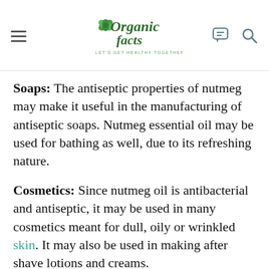Organic Facts - Let's Get Healthy Together
Soaps: The antiseptic properties of nutmeg may make it useful in the manufacturing of antiseptic soaps. Nutmeg essential oil may be used for bathing as well, due to its refreshing nature.
Cosmetics: Since nutmeg oil is antibacterial and antiseptic, it may be used in many cosmetics meant for dull, oily or wrinkled skin. It may also be used in making after shave lotions and creams.
Room Freshener: Nutmeg oil can be used as a room freshener, again due to its woody and pleasant aroma.
Tobacco: This oil is commonly used in the tobacco industry to change the flavor of the tobacco blend